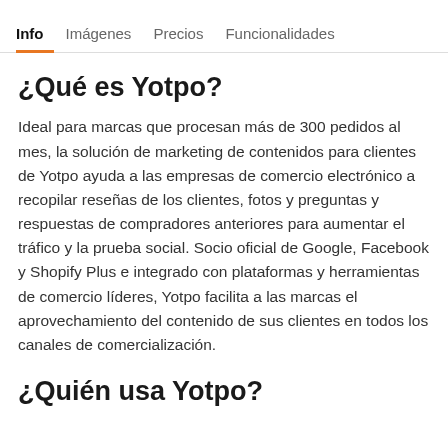Info  Imágenes  Precios  Funcionalidades
¿Qué es Yotpo?
Ideal para marcas que procesan más de 300 pedidos al mes, la solución de marketing de contenidos para clientes de Yotpo ayuda a las empresas de comercio electrónico a recopilar reseñas de los clientes, fotos y preguntas y respuestas de compradores anteriores para aumentar el tráfico y la prueba social. Socio oficial de Google, Facebook y Shopify Plus e integrado con plataformas y herramientas de comercio líderes, Yotpo facilita a las marcas el aprovechamiento del contenido de sus clientes en todos los canales de comercialización.
¿Quién usa Yotpo?